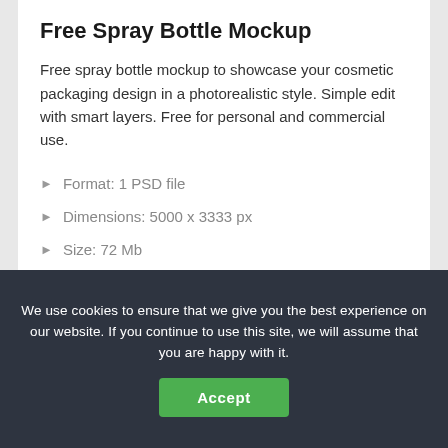Free Spray Bottle Mockup
Free spray bottle mockup to showcase your cosmetic packaging design in a photorealistic style. Simple edit with smart layers. Free for personal and commercial use.
Format: 1 PSD file
Dimensions: 5000 x 3333 px
Size: 72 Mb
We use cookies to ensure that we give you the best experience on our website. If you continue to use this site, we will assume that you are happy with it.